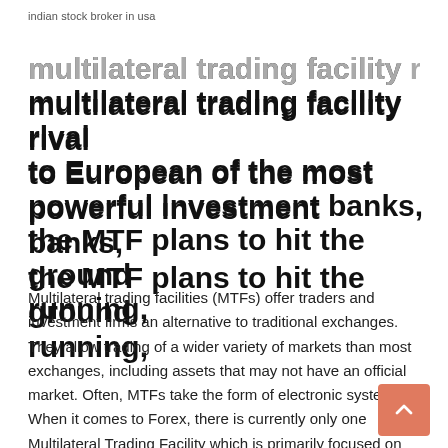indian stock broker in usa
multilateral trading facility rival to European of the most powerful investment banks, the MTF plans to hit the ground running,
Multilateral trading facilities (MTFs) offer traders and investment firms an alternative to traditional exchanges. They allow trading of a wider variety of markets than most exchanges, including assets that may not have an official market. Often, MTFs take the form of electronic systems. When it comes to Forex, there is currently only one Multilateral Trading Facility which is primarily focused on Spot FX. Authorised and regulated by the FCA, the LMAX Exchange allows traders to trade Spot FX pairings and Precious Metal CFD's through their MTF. A Multilateral Trading Facility is a